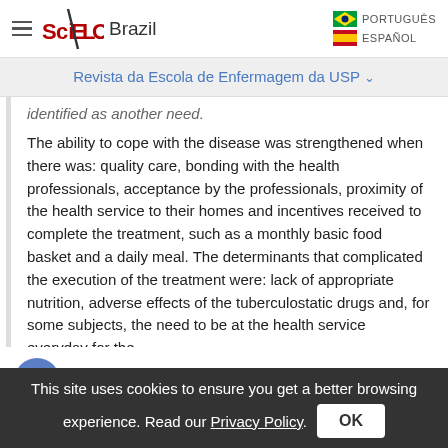SciELO Brazil | PORTUGUÊS | ESPAÑOL
Revista da Escola de Enfermagem da USP
identified as another need.
The ability to cope with the disease was strengthened when there was: quality care, bonding with the health professionals, acceptance by the professionals, proximity of the health service to their homes and incentives received to complete the treatment, such as a monthly basic food basket and a daily meal. The determinants that complicated the execution of the treatment were: lack of appropriate nutrition, adverse effects of the tuberculostatic drugs and, for some subjects, the need to be at the health service everyday for the
This site uses cookies to ensure you get a better browsing experience. Read our Privacy Policy.